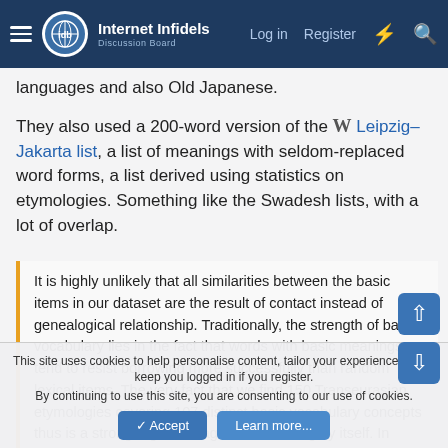Internet Infidels — Log in  Register
languages and also Old Japanese.
They also used a 200-word version of the W Leipzig–Jakarta list, a list of meanings with seldom-replaced word forms, a list derived using statistics on etymologies. Something like the Swadesh lists, with a lot of overlap.
It is highly unlikely that all similarities between the basic items in our dataset are the result of contact instead of genealogical relationship. Traditionally, the strength of basic vocabulary lies in the fact that words with basic meanings tend to resist borrowing more successfully than random lexical items. The very fact that we find 150 Transeurasian etymologies covering 107 distinct basic vocabulary concepts thus is a strong argument against borrowing by itself. In addition, we can advance other arguments against borrowing, such as (1) the misfit with the expected borrowing hierarchy; (2) the misfit with
This site uses cookies to help personalise content, tailor your experience and to keep you logged in if you register.
By continuing to use this site, you are consenting to our use of cookies.